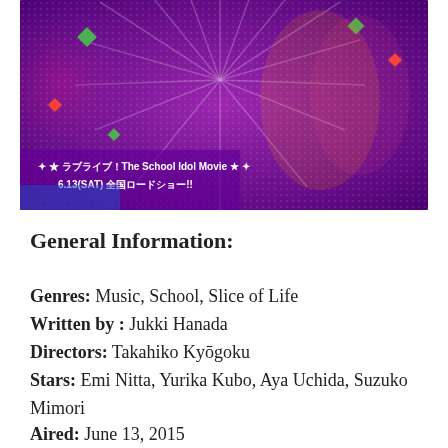[Figure (illustration): Anime movie promotional image for Love Live! The School Idol Movie showing colorful anime characters in festive costumes with fans against a purple starbursting background with white Japanese text overlay: ラブライブ!The School Idol Movie ★ 6.13(SAT) 全国ロードショー!!]
General Information:
Genres: Music, School, Slice of Life
Written by : Jukki Hanada
Directors: Takahiko Kyōgoku
Stars: Emi Nitta, Yurika Kubo, Aya Uchida, Suzuko Mimori
Aired: June 13, 2015